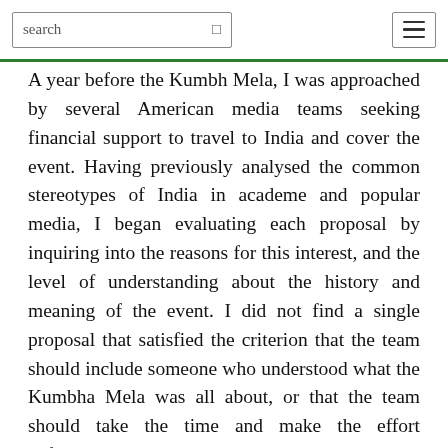search [hamburger menu]
A year before the Kumbh Mela, I was approached by several American media teams seeking financial support to travel to India and cover the event. Having previously analysed the common stereotypes of India in academe and popular media, I began evaluating each proposal by inquiring into the reasons for this interest, and the level of understanding about the history and meaning of the event. I did not find a single proposal that satisfied the criterion that the team should include someone who understood what the Kumbha Mela was all about, or that the team should take the time and make the effort beforehand, to get an authentic education on the subject. Frustrated, I wrote articles and essays speculating that the Western media would probably end up focusing only on naked sadhus, cows and exotic Hindus doing strange things and behaving in a manner that “no rational